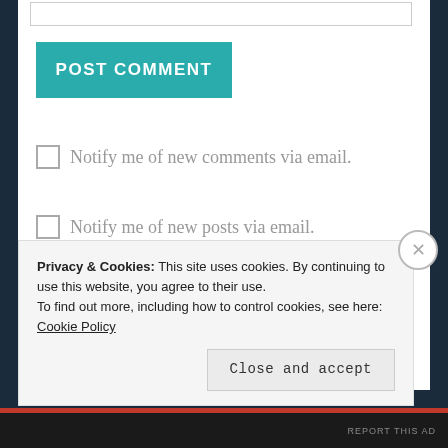[Figure (screenshot): Input text box at top of page (partial, top edge visible)]
POST COMMENT
Notify me of new comments via email.
Notify me of new posts via email.
[Figure (photo): Partial teal/blue circular avatar image visible at bottom of main content area]
Privacy & Cookies: This site uses cookies. By continuing to use this website, you agree to their use.
To find out more, including how to control cookies, see here: Cookie Policy
Close and accept